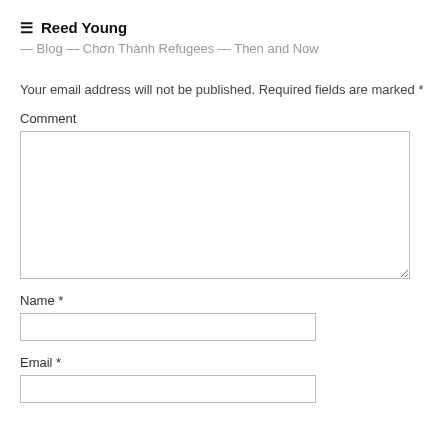≡  Reed Young — Blog — Chơn Thành Refugees — Then and Now
Your email address will not be published. Required fields are marked *
Comment
Name *
Email *